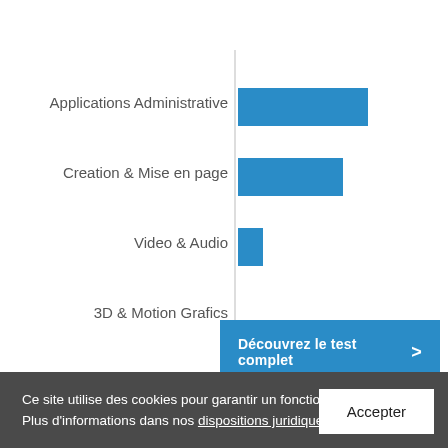[Figure (bar-chart): ]
Découvrez le test complet >
Ce site utilise des cookies pour garantir un fonctionnement optimal. Plus d'informations dans nos dispositions juridiques.
Accepter